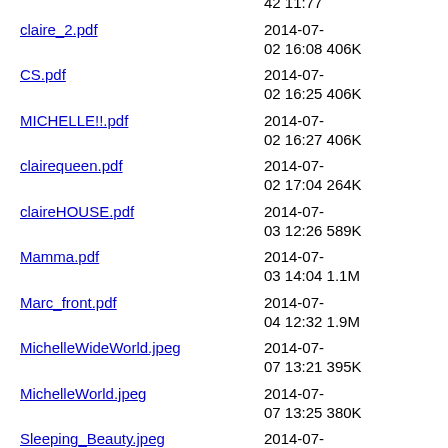claire_2.pdf  2014-07-02 16:08  406K
CS.pdf  2014-07-02 16:25  406K
MICHELLE!!.pdf  2014-07-02 16:27  406K
clairequeen.pdf  2014-07-02 17:04  264K
claireHOUSE.pdf  2014-07-03 12:26  589K
Mamma.pdf  2014-07-03 14:04  1.1M
Marc_front.pdf  2014-07-04 12:32  1.9M
MichelleWideWorld.jpeg  2014-07-07 13:21  395K
MichelleWorld.jpeg  2014-07-07 13:25  380K
Sleeping_Beauty.jpeg  2014-07-07 13:36  582K
Emma_Williams_Annie...>  2014-07-07 13:44  576K